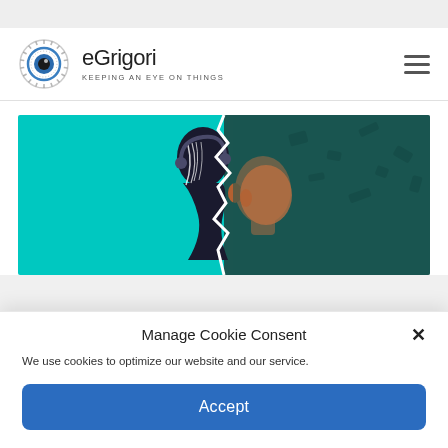eGrigori — KEEPING AN EYE ON THINGS
[Figure (illustration): Split illustration showing two faces or profiles side-by-side: left half has a dark silhouette on a bright cyan/turquoise background, right half shows a bald human figure on a dark teal background with scattered fragments]
Manage Cookie Consent
We use cookies to optimize our website and our service.
Accept